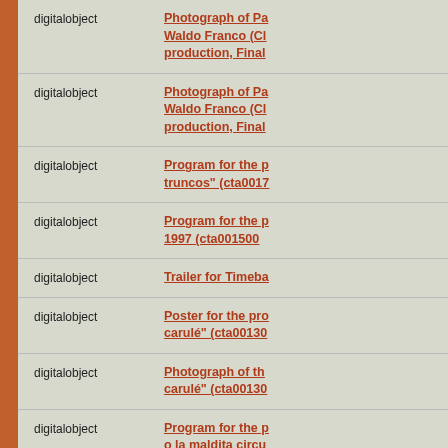digitalobject | Photograph of Pa... Waldo Franco (Cl... production, Final...
digitalobject | Photograph of Pa... Waldo Franco (Cl... production, Final...
digitalobject | Program for the p... truncos" (cta0017...
digitalobject | Program for the p... 1997 (cta001500...
digitalobject | Trailer for Timeba...
digitalobject | Poster for the pro... carulé" (cta00130...
digitalobject | Photograph of th... carulé" (cta00130...
digitalobject | Program for the p... o la maldita circu... partes" (cta00120...
Antigon á...